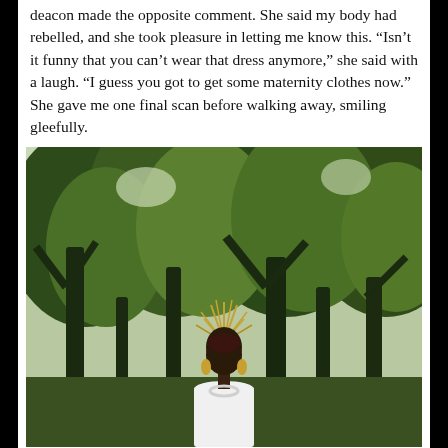deacon made the opposite comment. She said my body had rebelled, and she took pleasure in letting me know this. “Isn’t it funny that you can’t wear that dress anymore,” she said with a laugh. “I guess you got to get some maternity clothes now.” She gave me one final scan before walking away, smiling gleefully.
[Figure (photo): A Black woman in a white strapless dress stands outdoors in front of green trees. She wears an elaborate spiky golden headpiece, large hoop earrings, and a statement necklace.]